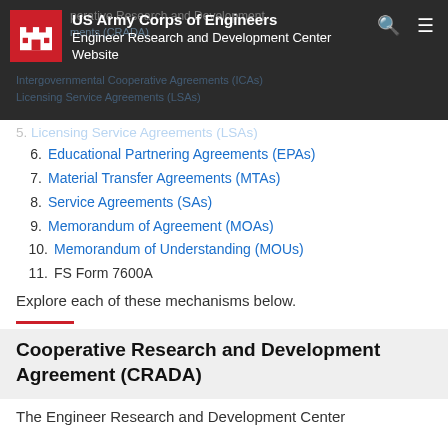US Army Corps of Engineers Engineer Research and Development Center Website
6. Educational Partnering Agreements (EPAs)
7. Material Transfer Agreements (MTAs)
8. Service Agreements (SAs)
9. Memorandum of Agreement (MOAs)
10. Memorandum of Understanding (MOUs)
11. FS Form 7600A
Explore each of these mechanisms below.
Cooperative Research and Development Agreement (CRADA)
The Engineer Research and Development Center